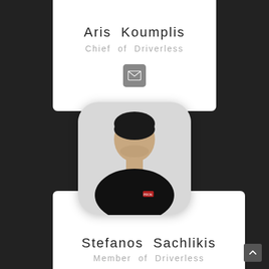Aris Koumplis
Chief of Driverless
[Figure (photo): Email icon button (grey square with envelope)]
[Figure (photo): Portrait photo of Stefanos Sachlikis wearing a black polo shirt with a racing logo, displayed in a rounded rectangle frame]
Stefanos Sachlikis
Member of Driverless